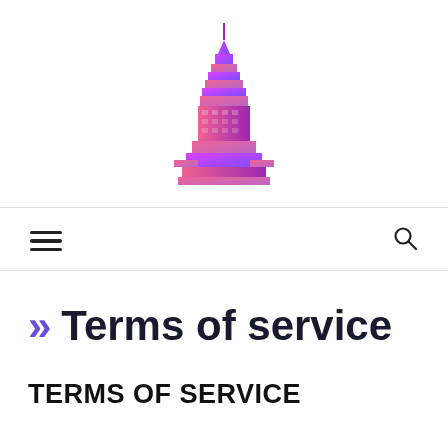[Figure (logo): Isometric illustration of a skyscraper building (Empire State Building style) in pink and purple gradient colors]
[Figure (other): Navigation bar with hamburger menu icon on the left and search (magnifying glass) icon on the right]
>> Terms of service
TERMS OF SERVICE